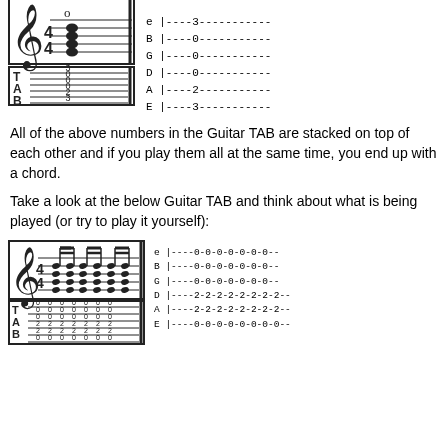[Figure (illustration): Guitar TAB notation showing a chord with treble clef, 4/4 time, stacked notes, and TAB staff with numbers 3,0,0,0,2,3 from top to bottom]
[Figure (illustration): Text-based guitar TAB showing: e|----3-----------, B|----0-----------, G|----0-----------, D|----0-----------, A|----2-----------, E|----3-----------]
All of the above numbers in the Guitar TAB are stacked on top of each other and if you play them all at the same time, you end up with a chord.
Take a look at the below Guitar TAB and think about what is being played (or try to play it yourself):
[Figure (illustration): Guitar TAB notation showing repeated chord pattern in 4/4 time with multiple eighth-note chords]
[Figure (illustration): Text-based guitar TAB showing: e|----0-0-0-0-0-0-0--, B|----0-0-0-0-0-0-0--, G|----0-0-0-0-0-0-0--, D|----2-2-2-2-2-2-2-2--, A|----2-2-2-2-2-2-2-2--, E|----0-0-0-0-0-0-0-0--]